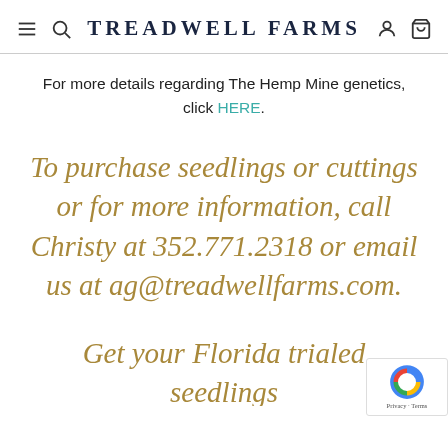TREADWELL FARMS
For more details regarding The Hemp Mine genetics, click HERE.
To purchase seedlings or cuttings or for more information, call Christy at 352.771.2318 or email us at ag@treadwellfarms.com.
Get your Florida trialed seedlings or rooted cuttings before they're